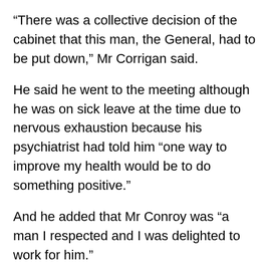“There was a collective decision of the cabinet that this man, the General, had to be put down,” Mr Corrigan said.
He said he went to the meeting although he was on sick leave at the time due to nervous exhaustion because his psychiatrist had told him “one way to improve my health would be to do something positive.”
And he added that Mr Conroy was “a man I respected and I was delighted to work for him.”
“You weren’t suffering from nervous exhaustion, it was a deception,” tribunal barrister Mr Justin